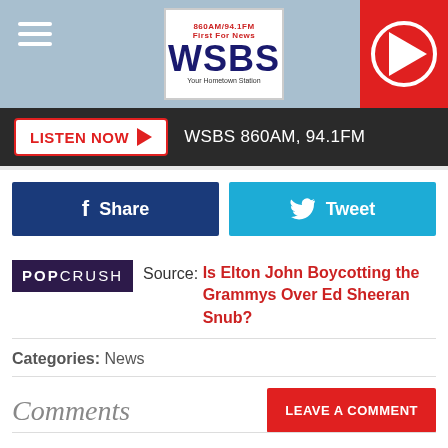WSBS 860AM/94.1FM – First For News – Your Hometown Station
LISTEN NOW ▶  WSBS 860AM, 94.1FM
f Share
Tweet
POPCRUSH  Source: Is Elton John Boycotting the Grammys Over Ed Sheeran Snub?
Categories: News
Comments
LEAVE A COMMENT